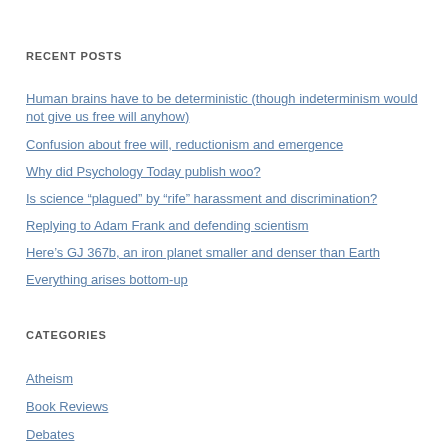RECENT POSTS
Human brains have to be deterministic (though indeterminism would not give us free will anyhow)
Confusion about free will, reductionism and emergence
Why did Psychology Today publish woo?
Is science “plagued” by “rife” harassment and discrimination?
Replying to Adam Frank and defending scientism
Here’s GJ 367b, an iron planet smaller and denser than Earth
Everything arises bottom-up
CATEGORIES
Atheism
Book Reviews
Debates